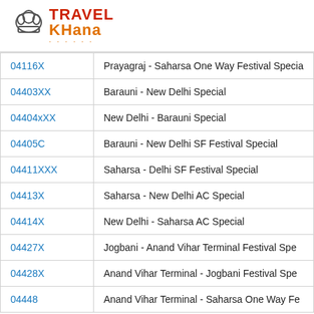[Figure (logo): TravelKhana logo with chef hat icon, red text TRAVEL and orange text KHANA with orange dots underline]
| 04116X | Prayagraj - Saharsa One Way Festival Specia |
| 04403XX | Barauni - New Delhi Special |
| 04404xXX | New Delhi - Barauni Special |
| 04405C | Barauni - New Delhi SF Festival Special |
| 04411XXX | Saharsa - Delhi SF Festival Special |
| 04413X | Saharsa - New Delhi AC Special |
| 04414X | New Delhi - Saharsa AC Special |
| 04427X | Jogbani - Anand Vihar Terminal Festival Spe |
| 04428X | Anand Vihar Terminal - Jogbani Festival Spe |
| 04448 | Anand Vihar Terminal - Saharsa One Way Fe |